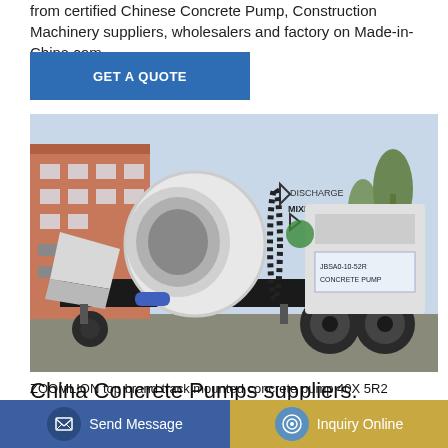from certified Chinese Concrete Pump, Construction Machinery suppliers, wholesalers and factory on Made-in-China.com
[Figure (other): Blue 'GET A QUOTE' button banner]
[Figure (photo): White concrete pump machine (JBSA0-10-52R) with mixing drum, labeled DISCHARGE and MIXING, on a trailer in an outdoor setting]
China Concrete Pumps suppliers.
ZOOMLION top brand track mounted concrete pump 40X 5R2
[Figure (other): Bottom navigation bar with Send Message (blue) and Inquiry Online (gold) buttons]